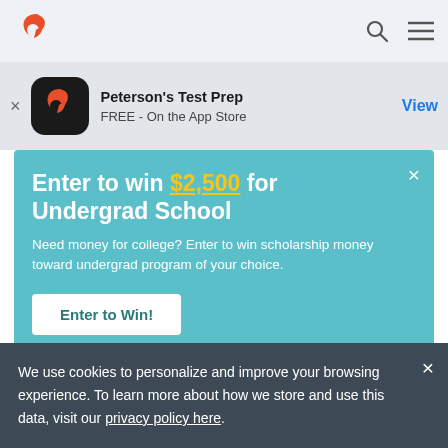Peterson's Test Prep — navigation bar with logo, search icon, and menu icon
[Figure (screenshot): App store banner: Peterson's Test Prep icon, text 'Peterson's Test Prep / FREE - On the App Store', View button]
Enter to win $2,500 for Undergrad School
Need money for college? Enter to win scholarship money toward undergrad program of your choice.
Enter to Win!
NOVEMBER 29, 2017 · BY BRENDAN · 6 MINS READ
We use cookies to personalize and improve your browsing experience. To learn more about how we store and use this data, visit our privacy policy here.